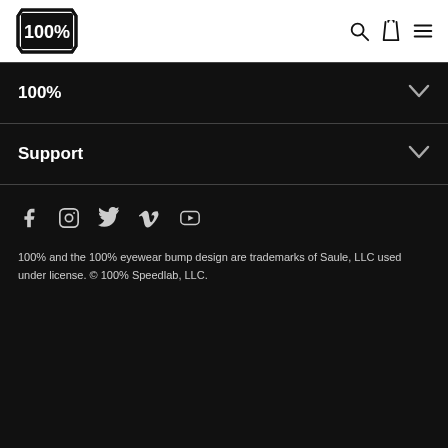100% brand logo and navigation icons
100%
Support
[Figure (infographic): Social media icons: Facebook, Instagram, Twitter, Vimeo, YouTube]
100% and the 100% eyewear bump design are trademarks of Saule, LLC used under license. © 100% Speedlab, LLC.